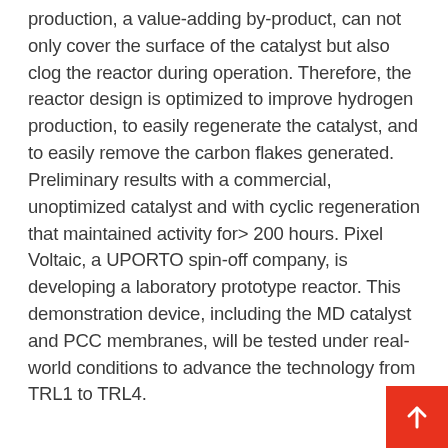production, a value-adding by-product, can not only cover the surface of the catalyst but also clog the reactor during operation. Therefore, the reactor design is optimized to improve hydrogen production, to easily regenerate the catalyst, and to easily remove the carbon flakes generated. Preliminary results with a commercial, unoptimized catalyst and with cyclic regeneration that maintained activity for> 200 hours. Pixel Voltaic, a UPORTO spin-off company, is developing a laboratory prototype reactor. This demonstration device, including the MD catalyst and PCC membranes, will be tested under real-world conditions to advance the technology from TRL1 to TRL4.